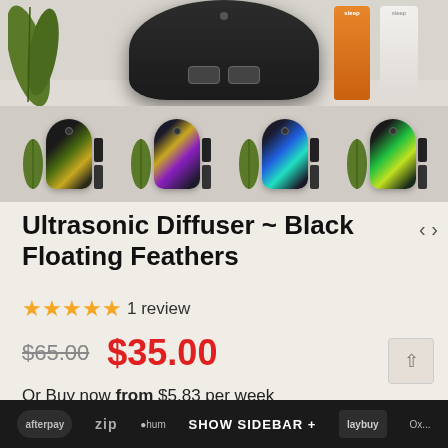[Figure (photo): Product photo of Ultrasonic Diffuser - Black Floating Feathers showing diffuser unit with essential oil bottles and thumbnail variants below]
Ultrasonic Diffuser ~ Black Floating Feathers
★★★★★ 1 review
$65.00  $35.00
Or Buy now from $5.83 per week
SHOW SIDEBAR +